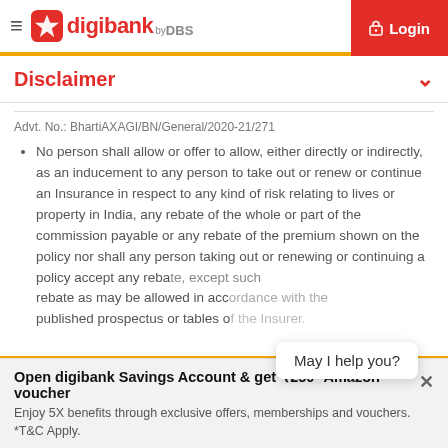digibank by DBS — Login
Disclaimer
Advt. No.: BhartiAXAGI/BN/General/2020-21/271
No person shall allow or offer to allow, either directly or indirectly, as an inducement to any person to take out or renew or continue an Insurance in respect to any kind of risk relating to lives or property in India, any rebate of the whole or part of the commission payable or any rebate of the premium shown on the policy nor shall any person taking out or renewing or continuing a policy accept any rebate, except such rebate as may be allowed in accordance with the published prospectus or tables of the Insurer.
May I help you?
Open digibank Savings Account & get ₹250* Amazon voucher
Enjoy 5X benefits through exclusive offers, memberships and vouchers. *T&C Apply.